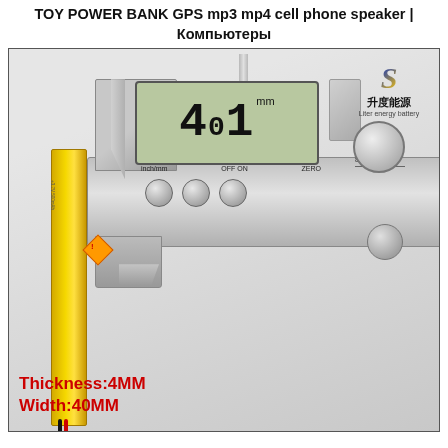TOY POWER BANK GPS mp3 mp4 cell phone speaker | Компьютеры
[Figure (photo): Product photo of a yellow lithium polymer battery being measured with a digital caliper showing 4.01mm reading. The caliper displays 'inch/mm OFF ON ZERO' buttons. The battery has a hazard sticker and red/black wires. Bottom left overlay text reads 'Thickness:4MM' and 'Width:40MM' in red bold text. Top right shows a company logo '升度能源 Liter energy battery' with a stylized S logo.]